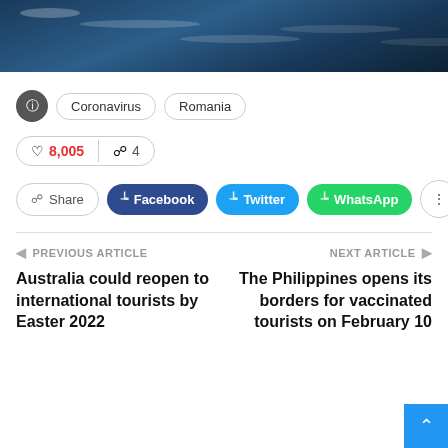[Figure (photo): Aerial photo of ocean/sea water with clouds and sunlight reflections, dark blue tones]
Coronavirus | Romania
8,005 likes | 4 comments
Share | Facebook | Twitter | WhatsApp
PREVIOUS ARTICLE
Australia could reopen to international tourists by Easter 2022
NEXT ARTICLE
The Philippines opens its borders for vaccinated tourists on February 10